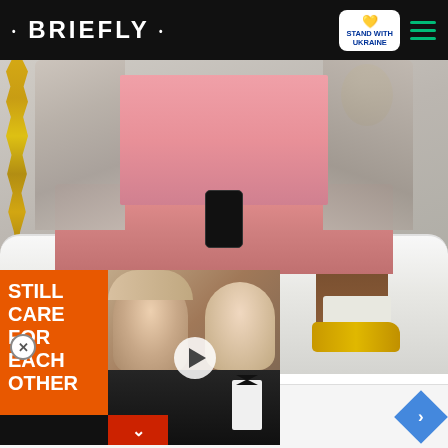• BRIEFLY • | STAND WITH UKRAINE
[Figure (photo): Person sitting on white sofa wearing pink shorts, checked blazer, yellow shoes with patterned socks, holding a phone. Gold decorations in background.]
[Figure (photo): Ad overlay: Orange background with text STILL CARE FOR EACH OTHER, video ad showing two people in formal attire with a play button]
Save Up To $100
Virginia Tire & Auto of Ashburn